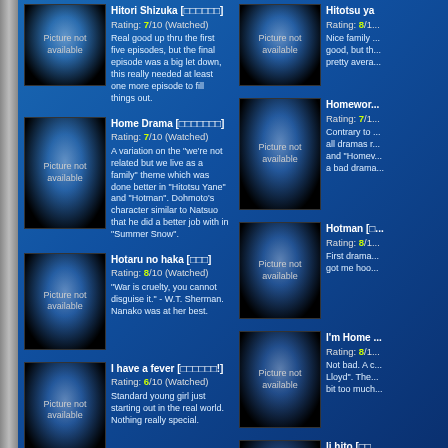Hitori Shizuka [□□□□□□] Rating: 7/10 (Watched) Real good up thru the first five episodes, but the final episode was a big let down, this really needed at least one more episode to fill things out.
Hitotsu ya [□□□□□□] Rating: 8/1... Nice family... good, but th... pretty avera...
Home Drama [□□□□□□□] Rating: 7/10 (Watched) A variation on the "we're not related but we live as a family" theme which was done better in "Hitotsu Yane" and "Hotman". Dohmoto's character similar to Natsuo that he did a better job with in "Summer Snow".
Homework [□□□□□□] Rating: 7/1... Contrary to... all dramas r... and "Homev... a bad drama...
Hotaru no haka [□□□] Rating: 8/10 (Watched) "War is cruelty, you cannot disguise it." - W.T. Sherman. Nanako was at her best.
Hotman [□... Rating: 8/1... First drama... got me hoo...
I have a fever [□□□□□□!] Rating: 6/10 (Watched) Standard young girl just starting out in the real world. Nothing really special.
I'm Home... Rating: 8/1... Not bad. A c... Lloyd". The... bit too much...
Iguana no musume [□□□□□□□] Rating: 6/10 (Watched) Maybe the strangest drama I've ever seen. Totally unbelievable storyline, but I'm giving it a 6 based on 3 great performances by Miho Kanno, Rena Komine, and Hitomi Sato. Oh yeah, remember to look both ways before...
Ii hito [□□... Rating: 9/1... I loved this... were both g... supporting d...